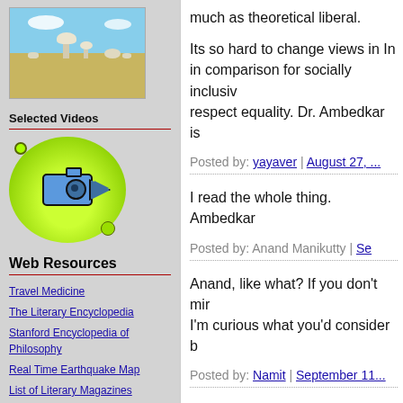[Figure (photo): Landscape photo showing white mushroom-shaped rock formations in a desert with blue sky and clouds]
Selected Videos
[Figure (illustration): Cartoon video camera icon on a bright green circular background]
Web Resources
Travel Medicine
The Literary Encyclopedia
Stanford Encyclopedia of Philosophy
Real Time Earthquake Map
List of Literary Magazines
sentence that felt a permanent m... much as theoretical liberal.
Its so hard to change views in In... in comparison for socially inclusiv... respect equality. Dr. Ambedkar is
Posted by: yayaver | August 27, ...
I read the whole thing. Ambedkar
Posted by: Anand Manikutty | Se...
Anand, like what? If you don't min... I'm curious what you'd consider b
Posted by: Namit | September 11...
Hi Namit, no man but a fool ever...
Posted by: Anand Manikutty | Se...